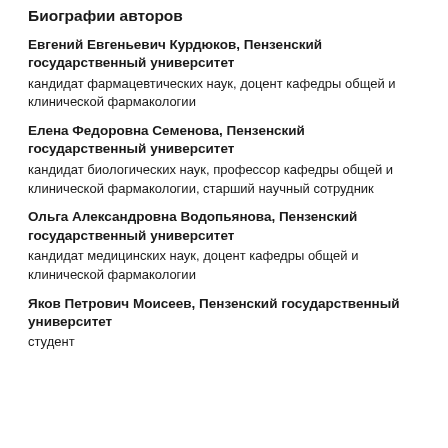Биографии авторов
Евгений Евгеньевич Курдюков, Пензенский государственный университет
кандидат фармацевтических наук, доцент кафедры общей и клинической фармакологии
Елена Федоровна Семенова, Пензенский государственный университет
кандидат биологических наук, профессор кафедры общей и клинической фармакологии, старший научный сотрудник
Ольга Александровна Водопьянова, Пензенский государственный университет
кандидат медицинских наук, доцент кафедры общей и клинической фармакологии
Яков Петрович Моисеев, Пензенский государственный университет
студент